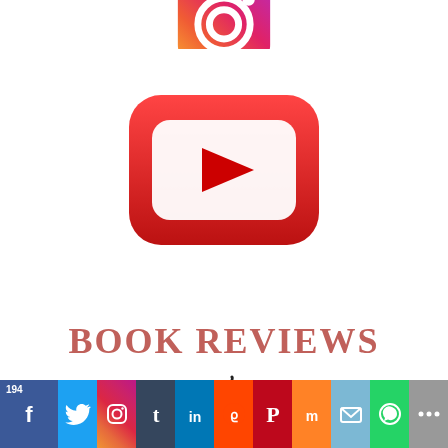[Figure (logo): Instagram logo - partial, top portion visible, gradient orange-pink-red rounded square with white camera icon]
[Figure (logo): YouTube logo - red rounded square with white play button triangle]
BOOK REVIEWS
[Figure (illustration): Open book illustration with a winding road/path rising from the pages, black line drawing]
194 | Facebook | Twitter | Instagram | Tumblr | LinkedIn | Reddit | Pinterest | Mix | Email | WhatsApp | More